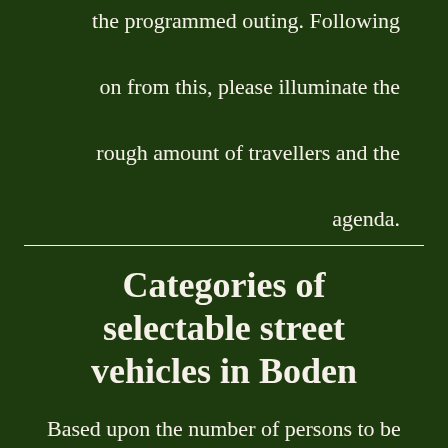the programmed outing. Following on from this, please illuminate the rough amount of travellers and the agenda.
Categories of selectable street vehicles in Boden
Based upon the number of persons to be